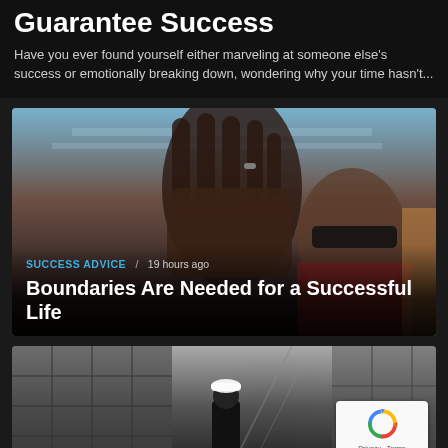Guarantee Success
Have you ever found yourself either marveling at someone else's success or emotionally breaking down, wondering why your time hasn't...
[Figure (photo): Person with hand raised toward camera wearing sunglasses and red clothing, blue sky background]
SUCCESS ADVICE / 19 hours ago
Boundaries Are Needed for a Successful Life
[Figure (photo): Black and white photo of a person in a suit with white cap walking toward a building entrance]